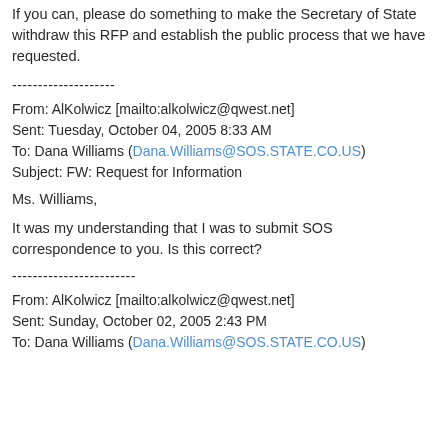If you can, please do something to make the Secretary of State withdraw this RFP and establish the public process that we have requested.
--------------------
From: AlKolwicz [mailto:alkolwicz@qwest.net]
Sent: Tuesday, October 04, 2005 8:33 AM
To: Dana Williams (Dana.Williams@SOS.STATE.CO.US)
Subject: FW: Request for Information
Ms. Williams,
It was my understanding that I was to submit SOS correspondence to you. Is this correct?
------------------------
From: AlKolwicz [mailto:alkolwicz@qwest.net]
Sent: Sunday, October 02, 2005 2:43 PM
To: Dana Williams (Dana.Williams@SOS.STATE.CO.US)